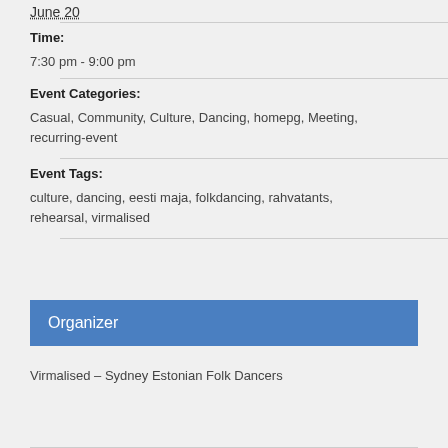June 20
Time:
7:30 pm - 9:00 pm
Event Categories:
Casual, Community, Culture, Dancing, homepg, Meeting, recurring-event
Event Tags:
culture, dancing, eesti maja, folkdancing, rahvatants, rehearsal, virmalised
Organizer
Virmalised – Sydney Estonian Folk Dancers